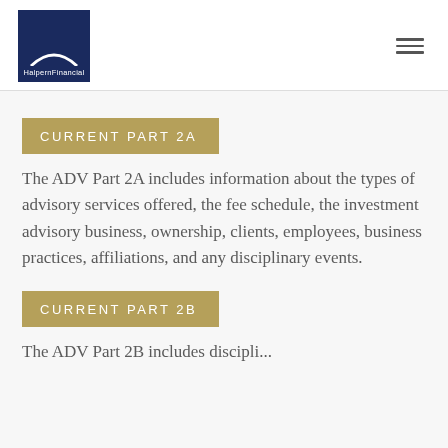[Figure (logo): Halpern Financial logo: dark navy blue square with white arch graphic and 'HalpernFinancial' text below it]
CURRENT PART 2A
The ADV Part 2A includes information about the types of advisory services offered, the fee schedule, the investment advisory business, ownership, clients, employees, business practices, affiliations, and any disciplinary events.
CURRENT PART 2B
The ADV Part 2B includes discipli...